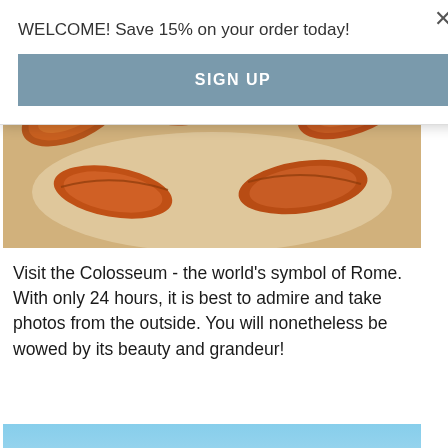×
WELCOME! Save 15% on your order today!
SIGN UP
[Figure (photo): Close-up photo of golden-brown baked croissants arranged on parchment paper, viewed from above, partially cropped at top.]
Visit the Colosseum - the world's symbol of Rome. With only 24 hours, it is best to admire and take photos from the outside. You will nonetheless be wowed by its beauty and grandeur!
[Figure (photo): Photo of the Colosseum in Rome against a bright blue sky, viewed from below looking up, showing the arched facade and ancient stonework, partially cropped at bottom.]